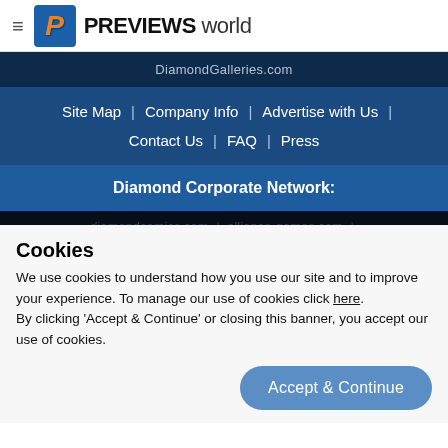PREVIEWS world
DiamondGalleries.com
Site Map | Company Info | Advertise with Us | Contact Us | FAQ | Press
Diamond Corporate Network:
diamondcomics.com | alliance-games.com |
Cookies
We use cookies to understand how you use our site and to improve your experience. To manage our use of cookies click here. By clicking 'Accept & Continue' or closing this banner, you accept our use of cookies.
Accept & Continue